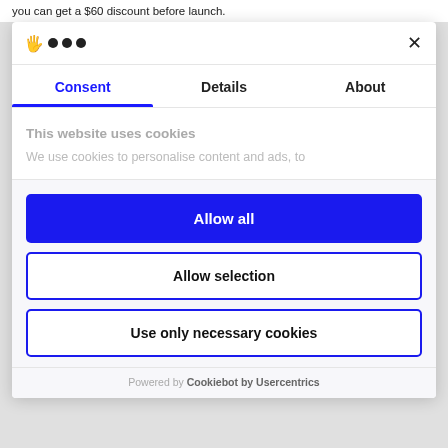you can get a $60 discount before launch.
[Figure (screenshot): Cookie consent modal dialog with Cookiebot branding, showing tabs for Consent, Details, About. The Consent tab is active (blue underline). Body shows 'This website uses cookies' and partial text 'We use cookies to personalise content and ads, to'. Below are three buttons: 'Allow all' (filled blue), 'Allow selection' (outlined), 'Use only necessary cookies' (outlined). Footer says 'Powered by Cookiebot by Usercentrics'.]